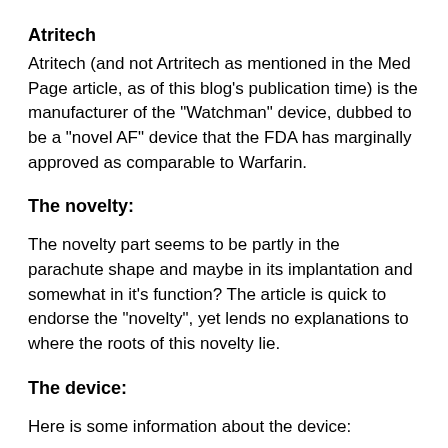Atritech
Atritech (and not Artritech as mentioned in the Med Page article, as of this blog's publication time) is the manufacturer of the "Watchman" device, dubbed to be a "novel AF" device that the FDA has marginally approved as comparable to Warfarin.
The novelty:
The novelty part seems to be partly in the parachute shape and maybe in its implantation and somewhat in it's function? The article is quick to endorse the "novelty", yet lends no explanations to where the roots of this novelty lie.
The device:
Here is some information about the device:
1. The device is approved for "warfarin-eligible" patients with nonvalvular atrial fibrillation. (We will discuss what all this song and dance means shortly)